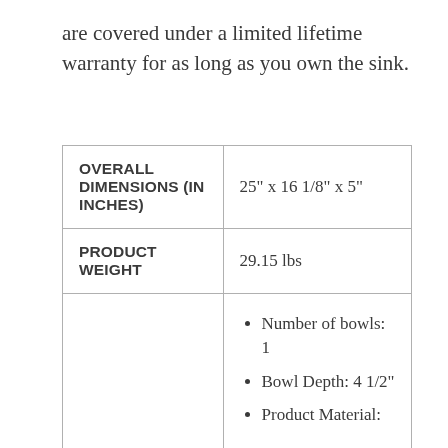are covered under a limited lifetime warranty for as long as you own the sink.
| OVERALL DIMENSIONS (IN INCHES) | 25" x 16 1/8" x 5" |
| PRODUCT WEIGHT | 29.15 lbs |
|  | Number of bowls: 1 | Bowl Depth: 4 1/2" | Product Material: |